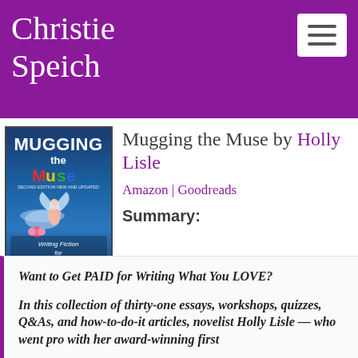Christie Speich
[Figure (screenshot): Hamburger menu icon (three horizontal lines) in a white rounded rectangle]
[Figure (illustration): Book cover of 'Mugging the Muse' by Holly Lisle — dark blue background with fairy figure, title text in white and yellow, subtitle 'Writing Fiction for Love AND Money', author name in yellow at bottom]
Mugging the Muse by Holly Lisle
Amazon | Goodreads
Summary:
Want to Get PAID for Writing What You LOVE?
In this collection of thirty-one essays, workshops, quizzes, Q&As, and how-to-do-it articles, novelist Holly Lisle — who went pro with her award-winning first